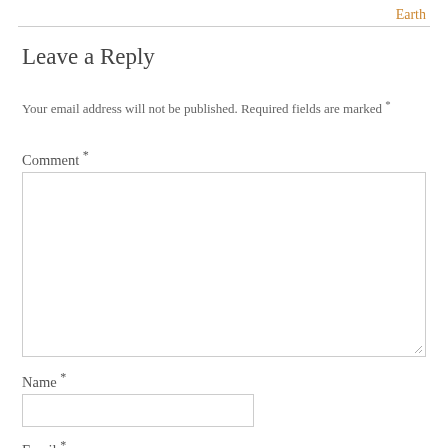Earth
Leave a Reply
Your email address will not be published. Required fields are marked *
Comment *
[Figure (other): Comment textarea input box]
Name *
[Figure (other): Name text input box]
Email *